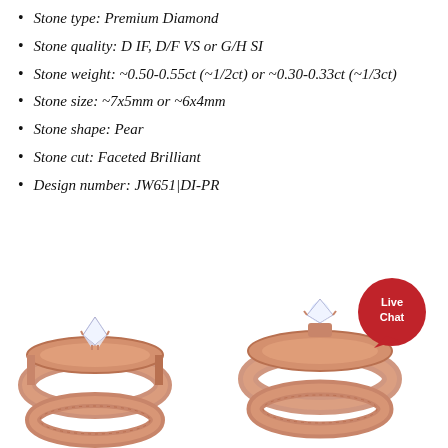Stone type: Premium Diamond
Stone quality: D IF, D/F VS or G/H SI
Stone weight: ~0.50-0.55ct (~1/2ct) or ~0.30-0.33ct (~1/3ct)
Stone size: ~7x5mm or ~6x4mm
Stone shape: Pear
Stone cut: Faceted Brilliant
Design number: JW651|DI-PR
[Figure (photo): Two rose gold engagement rings with pear-shaped diamond stones shown from different angles]
[Figure (infographic): Red circular Live Chat button with speech bubble tail]